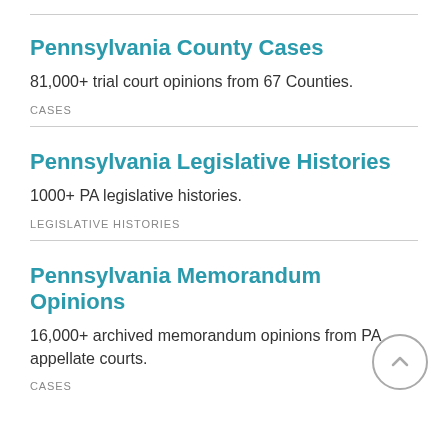Pennsylvania County Cases
81,000+ trial court opinions from 67 Counties.
CASES
Pennsylvania Legislative Histories
1000+ PA legislative histories.
LEGISLATIVE HISTORIES
Pennsylvania Memorandum Opinions
16,000+ archived memorandum opinions from PA appellate courts.
CASES